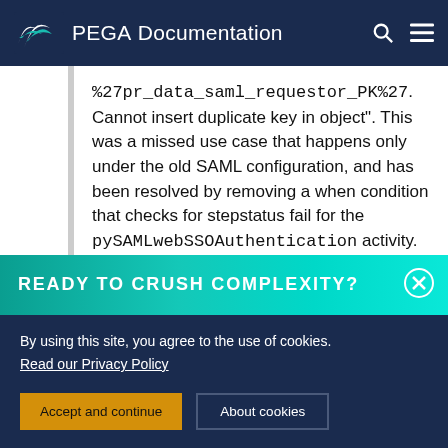PEGA Documentation
%27pr_data_saml_requestor_PK%27. Cannot insert duplicate key in object". This was a missed use case that happens only under the old SAML configuration, and has been resolved by removing a when condition that checks for stepstatus fail for the pySAMLwebSSOAuthentication activity.
READY TO CRUSH COMPLEXITY?
By using this site, you agree to the use of cookies. Read our Privacy Policy
Accept and continue   About cookies